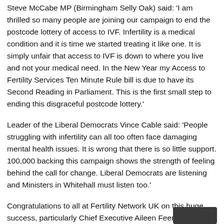Steve McCabe MP (Birmingham Selly Oak) said: 'I am thrilled so many people are joining our campaign to end the postcode lottery of access to IVF. Infertility is a medical condition and it is time we started treating it like one. It is simply unfair that access to IVF is down to where you live and not your medical need. In the New Year my Access to Fertility Services Ten Minute Rule bill is due to have its Second Reading in Parliament. This is the first small step to ending this disgraceful postcode lottery.'
Leader of the Liberal Democrats Vince Cable said: 'People struggling with infertility can all too often face damaging mental health issues. It is wrong that there is so little support. 100,000 backing this campaign shows the strength of feeling behind the call for change. Liberal Democrats are listening and Ministers in Whitehall must listen too.'
Congratulations to all at Fertility Network UK on this huge success, particularly Chief Executive Aileen Feeney and London Regional Organiser Anya Sizer!